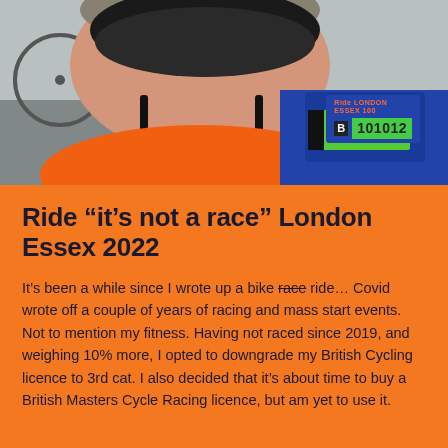[Figure (photo): Close-up selfie of a male cyclist wearing an orange cycling jersey, a black helmet with chin strap, and a blue race bib numbered B 101012 from Ride London Essex. Bicycles visible in the background on a road.]
Ride “it’s not a race” London Essex 2022
It’s been a while since I wrote up a bike race ride… Covid wrote off a couple of years of racing and mass start events. Not to mention my fitness. Having not raced since 2019, and weighing 10% more, I opted to downgrade my British Cycling licence to 3rd cat. I also decided that it’s about time to buy a British Masters Cycle Racing licence, but am yet to use it.